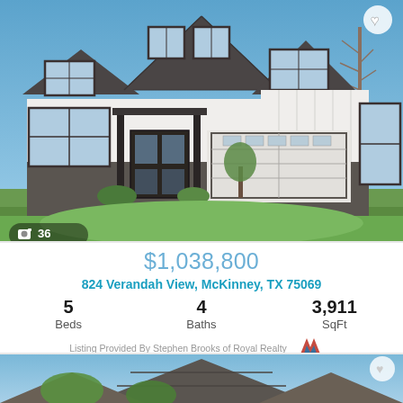[Figure (photo): Exterior photo of a modern two-story white craftsman-style home with dark trim, large windows, covered porch with dark door, two-car garage, manicured lawn, and blue sky background. Photo count badge shows 36 photos. Heart/favorite button in top right.]
$1,038,800
824 Verandah View, McKinney, TX 75069
5 Beds  4 Baths  3,911 SqFt
Listing Provided By Stephen Brooks of Royal Realty ntreis
[Figure (photo): Partial view of a second home listing showing a roof with gray/brown shingles and blue sky, partially visible at the bottom of the page. Heart/favorite button visible in top right corner.]